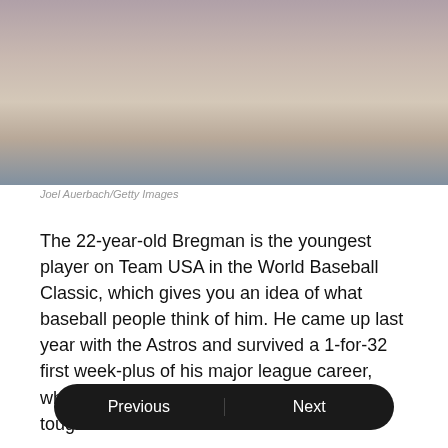[Figure (photo): Blurred photo of a baseball player or sports scene, credited to Joel Auerbach/Getty Images]
Joel Auerbach/Getty Images
The 22-year-old Bregman is the youngest player on Team USA in the World Baseball Classic, which gives you an idea of what baseball people think of him. He came up last year with the Astros and survived a 1-for-32 first week-plus of his major league career, which tells you something about his toughness.
A shortstop when he signed, Bregman moved to third base because of the presence of Carlos Correa. His strong play at third forced Yulieski Gurriel, the guy the Astros spent $47.5 mil... base.